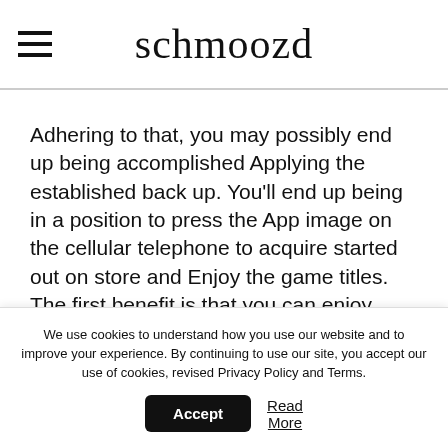schmoozd
Adhering to that, you may possibly end up being accomplished Applying the established back up. You'll end up being in a position to press the App image on the cellular telephone to acquire started out on store and Enjoy the game titles. The first benefit is that you can enjoy playing your favorite slot games without risking any real funds. With totally free online slot machines you can exercise taking part in true cash video games before they get your cash. But casino is extra than hitting and burning off. This is the only
We use cookies to understand how you use our website and to improve your experience. By continuing to use our site, you accept our use of cookies, revised Privacy Policy and Terms.
Accept
Read More